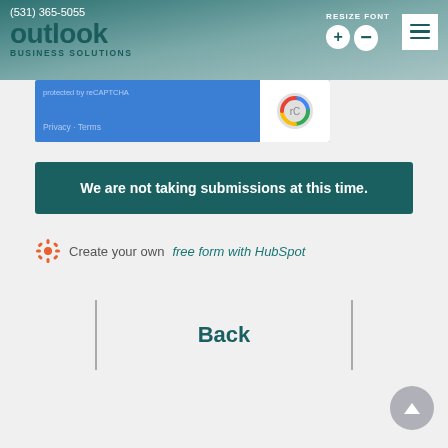(531) 365-5055
outlook BUSINESS SOLUTIONS
[Figure (screenshot): reCAPTCHA widget strip showing Privacy - Terms text on blue background with reCAPTCHA logo on white background]
We are not taking submissions at this time.
Create your own free form with HubSpot
Back